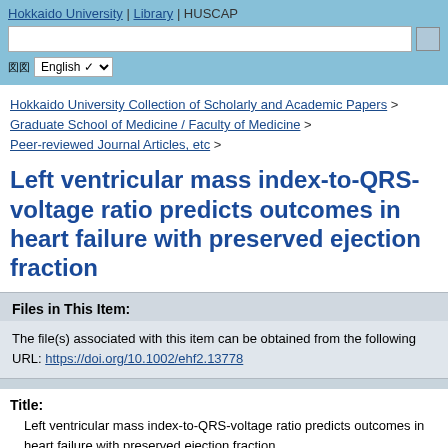Hokkaido University | Library | HUSCAP
Hokkaido University Collection of Scholarly and Academic Papers > Graduate School of Medicine / Faculty of Medicine > Peer-reviewed Journal Articles, etc >
Left ventricular mass index-to-QRS-voltage ratio predicts outcomes in heart failure with preserved ejection fraction
Files in This Item:
The file(s) associated with this item can be obtained from the following URL: https://doi.org/10.1002/ehf2.13778
Title:
Left ventricular mass index-to-QRS-voltage ratio predicts outcomes in heart failure with preserved ejection fraction
Authors: